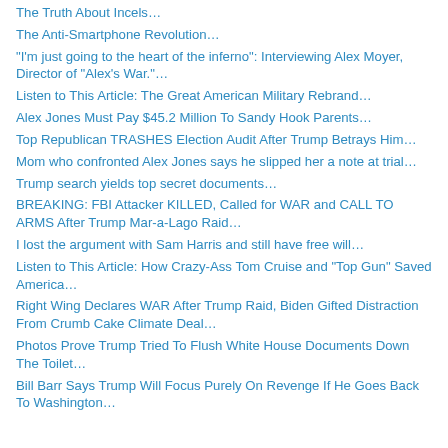The Truth About Incels…
The Anti-Smartphone Revolution…
“I’m just going to the heart of the inferno”: Interviewing Alex Moyer, Director of “Alex’s War.”…
Listen to This Article: The Great American Military Rebrand…
Alex Jones Must Pay $45.2 Million To Sandy Hook Parents…
Top Republican TRASHES Election Audit After Trump Betrays Him…
Mom who confronted Alex Jones says he slipped her a note at trial…
Trump search yields top secret documents…
BREAKING: FBI Attacker KILLED, Called for WAR and CALL TO ARMS After Trump Mar-a-Lago Raid…
I lost the argument with Sam Harris and still have free will…
Listen to This Article: How Crazy-Ass Tom Cruise and “Top Gun” Saved America…
Right Wing Declares WAR After Trump Raid, Biden Gifted Distraction From Crumb Cake Climate Deal…
Photos Prove Trump Tried To Flush White House Documents Down The Toilet…
Bill Barr Says Trump Will Focus Purely On Revenge If He Goes Back To Washington…